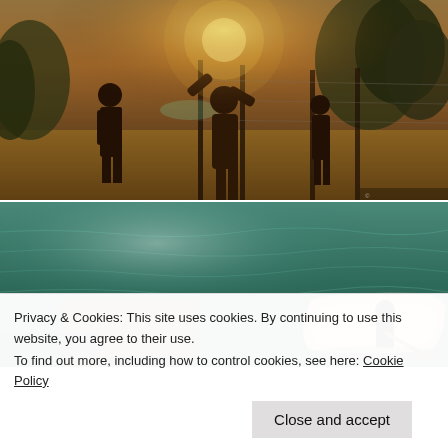[Figure (photo): Outdoor scene with several people silhouetted against bright sunlight, standing on dry ground with trees, fence posts, and hillside in background. Warm, backlit golden hour lighting.]
[Figure (photo): Aerial or elevated view of green water with a person in a small aluminum motorboat on the right, and a partially submerged or floating dark platform/structure in the lower left. Sunlight glinting on the water.]
Privacy & Cookies: This site uses cookies. By continuing to use this website, you agree to their use.
To find out more, including how to control cookies, see here: Cookie Policy
Close and accept